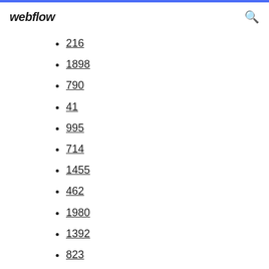webflow
216
1898
790
41
995
714
1455
462
1980
1392
823
737